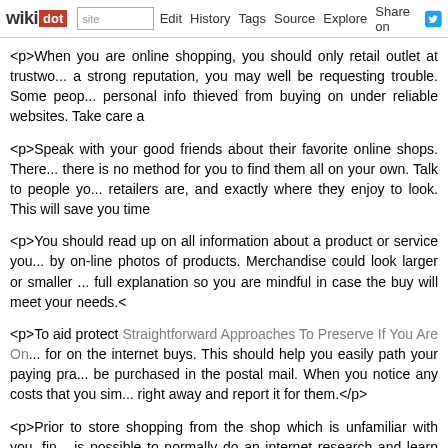wikidot | site | Edit | History | Tags | Source | Explore | Share on [Twitter]
<p>When you are online shopping, you should only retail outlet at trustworthy, a strong reputation, you may well be requesting trouble. Some people have their personal info thieved from buying on under reliable websites. Take care a
<p>Speak with your good friends about their favorite online shops. There is no method for you to find them all on your own. Talk to people you know retailers are, and exactly where they enjoy to look. This will save you time
<p>You should read up on all information about a product or service you by on-line photos of products. Merchandise could look larger or smaller full explanation so you are mindful in case the buy will meet your needs.<
<p>To aid protect Straightforward Approaches To Preserve If You Are On for on the internet buys. This should help you easily path your paying practice be purchased in the postal mail. When you notice any costs that you simply right away and report it for them.</p>
<p>Prior to store shopping from the shop which is unfamiliar with you, find is possible to normally do an internet research and learn what other people accomplish this so you do not figure out hard way and get rid of your money
<p>When you are shopping on the internet, use reviews and ratings to purchases. When you are purchasing a rug and 10 out of 11 testers report most likely want to look in other places to the item. Also examine to ensure was required to buy the item in order to make the review.</p>
<p>When you shop online, constantly stop to read through product reviews greatest assets. They will explain regardless of whether apparel styles difficulties with a product or service, or maybe if it isn't very smooth